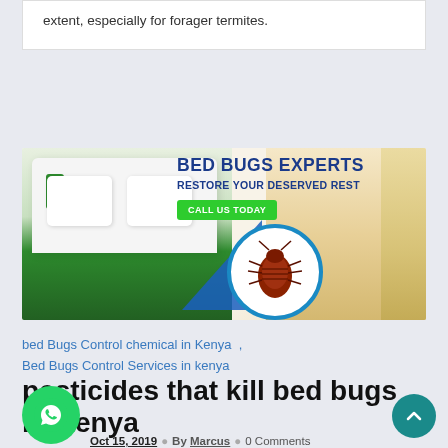extent, especially for forager termites.
[Figure (infographic): Bed Bugs Experts advertisement banner with text 'BED BUGS EXPERTS RESTORE YOUR DESERVED REST' and a 'CALL US TODAY' button, showing a green bed and a bed bug insect in a circle]
bed Bugs Control chemical in Kenya , Bed Bugs Control Services in kenya
pesticides that kill bed bugs in Kenya
Oct 15, 2019  By Marcus  0 Comments